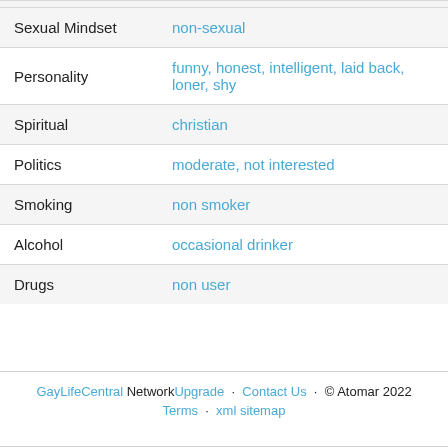| Attribute | Value |
| --- | --- |
| Sexual Mindset | non-sexual |
| Personality | funny, honest, intelligent, laid back, loner, shy |
| Spiritual | christian |
| Politics | moderate, not interested |
| Smoking | non smoker |
| Alcohol | occasional drinker |
| Drugs | non user |
GayLifeCentral Network Upgrade · Contact Us · © Atomar 2022 Terms · xml sitemap